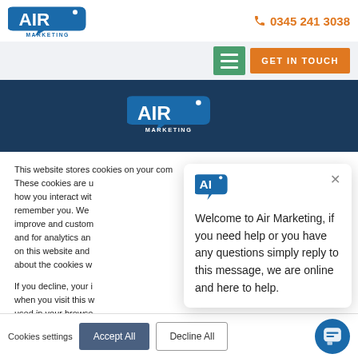[Figure (logo): Air Marketing logo top left in header]
0345 241 3038
[Figure (logo): Air Marketing logo centered in dark blue band]
This website stores cookies on your computer. These cookies are used to collect information about how you interact with our website and allow us to remember you. We use this information in order to improve and customise your browsing experience and for analytics and metrics about our visitors both on this website and other media. To find out more about the cookies we use, see our Privacy Policy.
If you decline, your information won't be tracked when you visit this website. A single cookie will be used in your browser to remember your preference not to be tracked.
[Figure (screenshot): Chat popup with Air Marketing icon and welcome message: Welcome to Air Marketing, if you need help or you have any questions simply reply to this message, we are online and here to help.]
Cookies settings
Accept All
Decline All